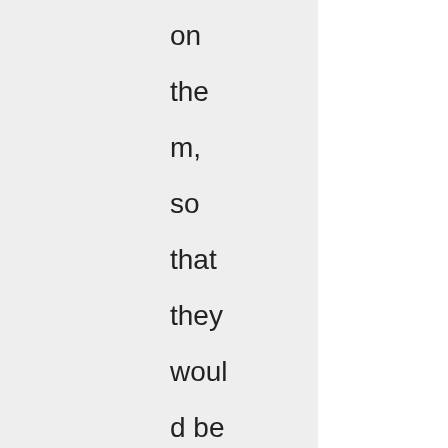on them, so that they would be unfit for eating. A Traditional Irish proverb says: